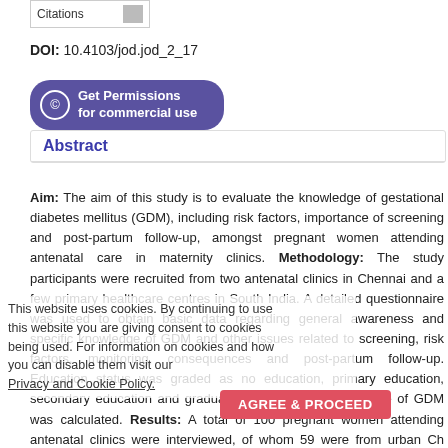[Figure (other): Citations box with label 'Citations' and a gray block]
DOI: 10.4103/jod.jod_2_17
[Figure (other): Get Permissions for commercial use button with copyright icon]
Abstract
Aim: The aim of this study is to evaluate the knowledge of gestational diabetes mellitus (GDM), including risk factors, importance of screening and post-partum follow-up, amongst pregnant women attending antenatal care in maternity clinics. Methodology: The study participants were recruited from two antenatal clinics in Chennai and a few primary healthcare centres in South India. A detailed questionnaire was used to obtain basic data regarding general awareness and specific knowledge of GDM and other issues related to screening, risk factors, monitoring, consequences and post-partum follow-up. Education status was graded as no education, primary education, secondary education and graduates. A composite knowledge of GDM was calculated. Results: A total of 100 pregnant women attending antenatal clinics were interviewed, of whom 59 were from urban Chennai and 41 from Kanchipuram district. Regarding risk factors of GDM, 48.8% of rural women were unaware of any risk factor while 55.9% of urban women reported awareness of family diabetes as a risk factor. 49.2% of urban women and 75.6% of rural women did not know the long-term consequences of GDM to babies born to GDM
This website uses cookies. By continuing to use this website you are giving consent to cookies being used. For information on cookies and how you can disable them visit our Privacy and Cookie Policy.
AGREE & PROCEED